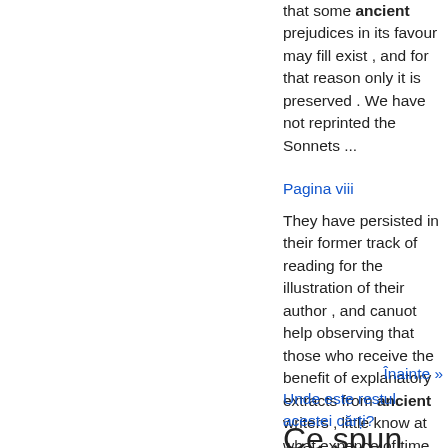that some ancient prejudices in its favour may fill exist , and for that reason only it is preserved . We have not reprinted the Sonnets ...
Pagina viii
They have persisted in their former track of reading for the illustration of their author , and canuot help observing that those who receive the benefit of explanatory extracts from ancient writers , little know at what expence of time ...
Înainte »
Unde este restul acestei cărți?
Ce spun